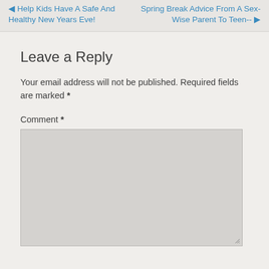◀ Help Kids Have A Safe And Healthy New Years Eve!  |  Spring Break Advice From A Sex-Wise Parent To Teen-- ▶
Leave a Reply
Your email address will not be published. Required fields are marked *
Comment *